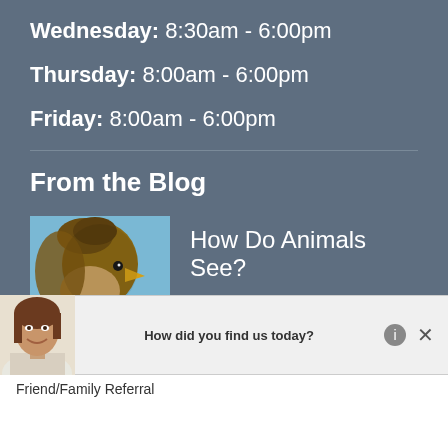Wednesday: 8:30am - 6:00pm
Thursday: 8:00am - 6:00pm
Friday: 8:00am - 6:00pm
From the Blog
[Figure (photo): Eagle close-up photo against a blue sky background]
How Do Animals See?
[Figure (photo): Woman smiling, used as chat agent avatar in popup bar]
How did you find us today?
Friend/Family Referral
Internet Search
Newspaper Ad
Yellow Pages
Walk-by/Drive-by
Other (please specify)   Submit